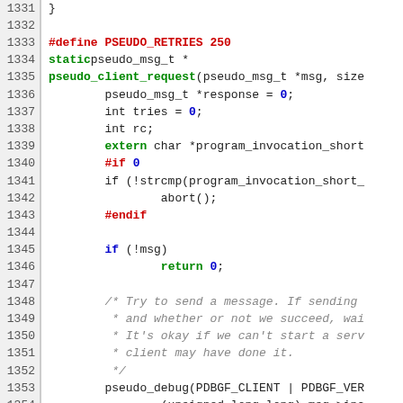[Figure (screenshot): Source code listing showing C code with line numbers 1331–1360. Contains function definition pseudo_client_request with preprocessor directives, variable declarations, and loop constructs.]